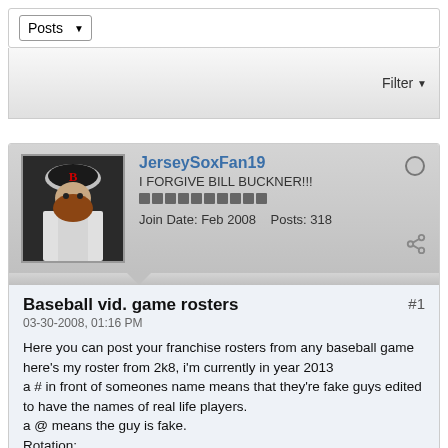Posts
Filter
JerseySoxFan19
I FORGIVE BILL BUCKNER!!!
Join Date: Feb 2008   Posts: 318
Baseball vid. game rosters
03-30-2008, 01:16 PM
Here you can post your franchise rosters from any baseball game here's my roster from 2k8, i'm currently in year 2013
a # in front of someones name means that they're fake guys edited to have the names of real life players.
a @ means the guy is fake.
Rotation:
1.J. Beckett
2.J. Lester
3.D. Matsuzaka
4.O. Perez
5.J Moi...